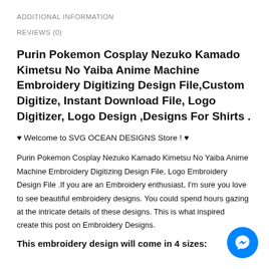ADDITIONAL INFORMATION
REVIEWS (0)
Purin Pokemon Cosplay Nezuko Kamado Kimetsu No Yaiba Anime Machine Embroidery Digitizing Design File,Custom Digitize, Instant Download File, Logo Digitizer, Logo Design ,Designs For Shirts .
♥ Welcome to SVG OCEAN DESIGNS Store ! ♥
Purin Pokemon Cosplay Nezuko Kamado Kimetsu No Yaiba Anime Machine Embroidery Digitizing Design File, Logo Embroidery Design File .If you are an Embroidery enthusiast, I'm sure you love to see beautiful embroidery designs. You could spend hours gazing at the intricate details of these designs. This is what inspired create this post on Embroidery Designs.
This embroidery design will come in 4 sizes: